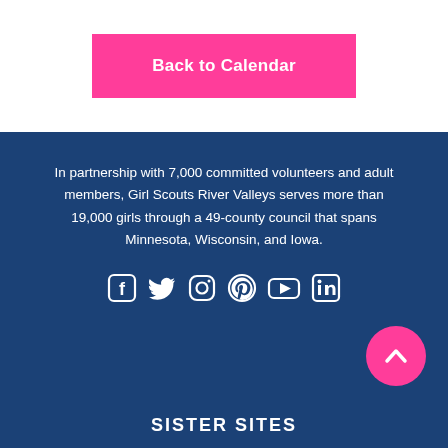Back to Calendar
In partnership with 7,000 committed volunteers and adult members, Girl Scouts River Valleys serves more than 19,000 girls through a 49-county council that spans Minnesota, Wisconsin, and Iowa.
[Figure (infographic): Social media icons row: Facebook, Twitter, Instagram, Pinterest, YouTube, LinkedIn — all white on dark blue background]
[Figure (other): Pink circular scroll-to-top button with upward chevron arrow]
SISTER SITES